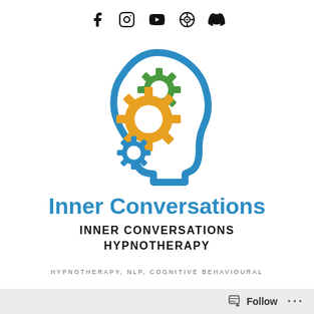[Figure (logo): Social media icons row: Facebook, Instagram, YouTube, and two other platform icons]
[Figure (logo): Inner Conversations logo: blue outline of human head profile facing right with three interlocking gears inside - green gear top, orange/yellow large gear middle, blue small gear bottom left]
Inner Conversations
INNER CONVERSATIONS HYPNOTHERAPY
HYPNOTHERAPY, NLP, COGNITIVE BEHAVIOURAL
Follow ...